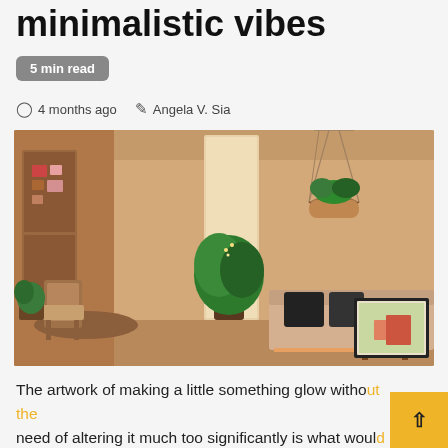minimalistic vibes
5 min read
4 months ago  Angela V. Sia
[Figure (photo): Interior room photo showing a cozy bohemian-minimalist living space with wooden furniture, hanging rattan basket, ferns and plants, fairy lights, a daybed with cushions, and framed artwork.]
The artwork of making a little something glow without the need of altering it much too significantly is what would make minimalism a pretty subtle ability whilst the idea of